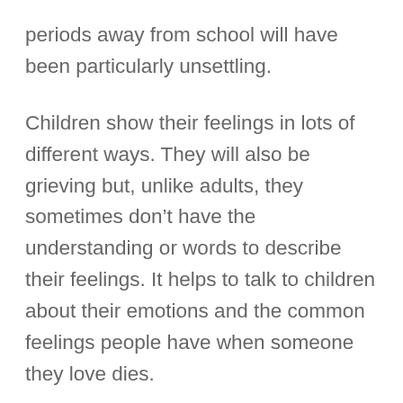periods away from school will have been particularly unsettling.
Children show their feelings in lots of different ways. They will also be grieving but, unlike adults, they sometimes don’t have the understanding or words to describe their feelings. It helps to talk to children about their emotions and the common feelings people have when someone they love dies.